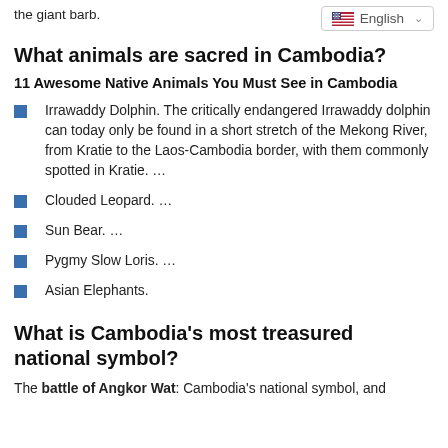the giant barb.
English
What animals are sacred in Cambodia?
11 Awesome Native Animals You Must See in Cambodia
Irrawaddy Dolphin. The critically endangered Irrawaddy dolphin can today only be found in a short stretch of the Mekong River, from Kratie to the Laos-Cambodia border, with them commonly spotted in Kratie. …
Clouded Leopard. …
Sun Bear. …
Pygmy Slow Loris. …
Asian Elephants.
What is Cambodia's most treasured national symbol?
The battle of Angkor Wat: Cambodia's national symbol, and